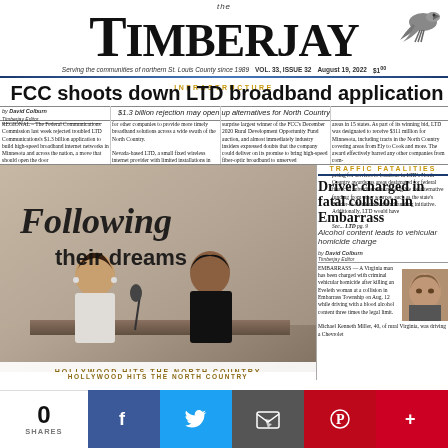the Timberjay — Serving the communities of northern St. Louis County since 1989 — VOL. 33, ISSUE 32 — August 19, 2022 $1.00
INFRASTRUCTURE
FCC shoots down LTD broadband application
$1.3 billion rejection may open up alternatives for North Country
REGIONAL – The Federal Communications Commission last week rejected troubled LTD Communications's $1.3 billion application to build high-speed broadband internet networks in Minnesota and across the nation, a move that should open the door for other companies to provide more timely broadband solutions across a wide swath of the North Country.
Nevada-based LTD, a small fixed wireless internet provider with limited installations in Minnesota, was the surprise largest winner of the FCC's December 2020 Rural Development Opportunity Fund auction, and almost immediately industry insiders expressed doubts that the company could deliver on its promise to bring high-speed fiber-optic broadband to unserved areas in 15 states.
As part of its winning bid, LTD was designated to receive $311 million for Minnesota, including tracts in the North Country covering areas from Ely to Cook and more. The award effectively barred any other companies from competing for services to locations in LTD's North Country awards, as areas designated for federal financial subsidies were not eligible for alternative funding from other sources, such as the state's Border-to-Border broadband funding initiative. Additionally, LTD would have
See... LTD pg. 9
TRAFFIC FATALITIES
Driver charged in fatal collision in Embarrass
Alcohol content leads to vehicular homicide charge
by David Colburn, Timberjay Editor
EMBARRASS — A Virginia man has been charged with criminal vehicular homicide after killing an Eveleth woman at a collision in Embarrass Township on Aug. 12 while driving with a blood alcohol content three times the legal limit. Michael Kenneth Miller, 40, of rural Virginia, was driving a Chevrolet
[Figure (photo): Two people sitting at a table at an event, with text overlay reading 'Following their dreams' — Hollywood Hits the North Country photo feature]
HOLLYWOOD HITS THE NORTH COUNTRY
0 SHARES — Facebook, Twitter, Email, Pinterest, More